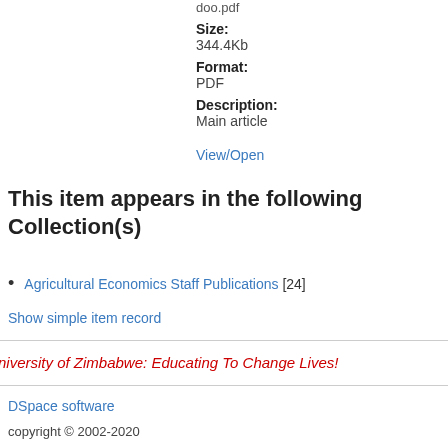doo.pdf
Size:
344.4Kb
Format:
PDF
Description:
Main article
View/Open
This item appears in the following Collection(s)
Agricultural Economics Staff Publications [24]
Show simple item record
University of Zimbabwe: Educating To Change Lives!
DSpace software
copyright © 2002-2020